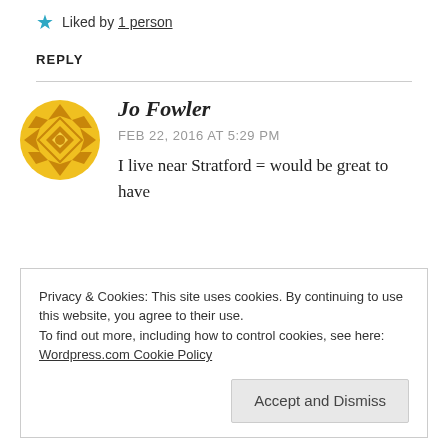Would love to win this
★ Liked by 1 person
REPLY
[Figure (illustration): Yellow geometric/diamond pattern avatar icon for user Jo Fowler]
Jo Fowler
FEB 22, 2016 AT 5:29 PM
I live near Stratford = would be great to have
Privacy & Cookies: This site uses cookies. By continuing to use this website, you agree to their use.
To find out more, including how to control cookies, see here:
Wordpress.com Cookie Policy
Accept and Dismiss